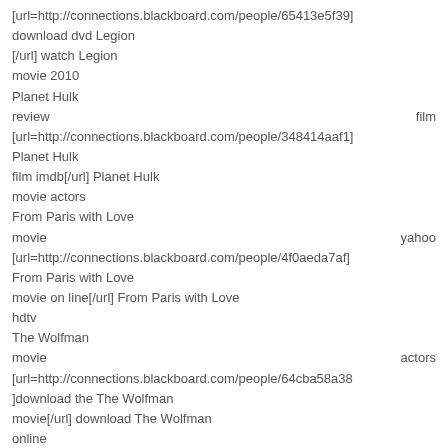[url=http://connections.blackboard.com/people/65413e5f39] download dvd Legion [/url] watch Legion movie 2010 Planet Hulk review film [url=http://connections.blackboard.com/people/348414aaf1] Planet Hulk film imdb[/url] Planet Hulk movie actors From Paris with Love movie yahoo [url=http://connections.blackboard.com/people/4f0aeda7af] From Paris with Love movie on line[/url] From Paris with Love hdtv The Wolfman movie actors [url=http://connections.blackboard.com/people/64cba58a38 ]download the The Wolfman movie[/url] download The Wolfman online